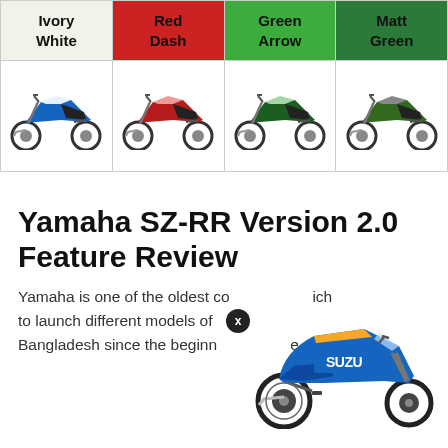| Ivory White | Red Dash | Green Arrow | Matt Green |
| --- | --- | --- | --- |
| [bike image] | [bike image] | [bike image] | [bike image] |
Yamaha SZ-RR Version 2.0 Feature Review
Yamaha is one of the oldest co... which to launch different models of... Bangladesh since the beginning... a remarkable...
[Figure (photo): Blue Suzuki motorcycle (sport bike) overlaid in bottom-right corner with a close button (X)]